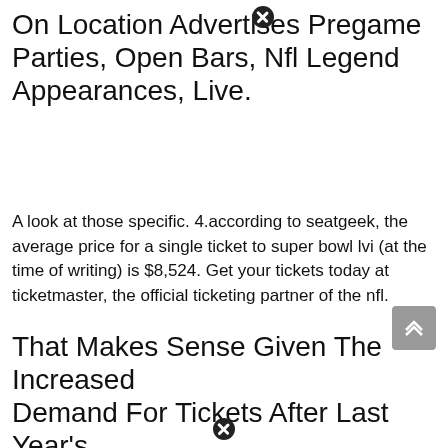On Location Advertises Pregame Parties, Open Bars, Nfl Legend Appearances, Live.
A look at those specific. 4.according to seatgeek, the average price for a single ticket to super bowl lvi (at the time of writing) is $8,524. Get your tickets today at ticketmaster, the official ticketing partner of the nfl.
That Makes Sense Given The Increased Demand For Tickets After Last Year's Matchup In Tampa, Fla., Was Played.
On friday, the cheapest seats available on viagogo were $5,750 in the upper deck. 11.how much are super bowl tickets in 2022? 31.how much is a super bowl ticket for 2022?